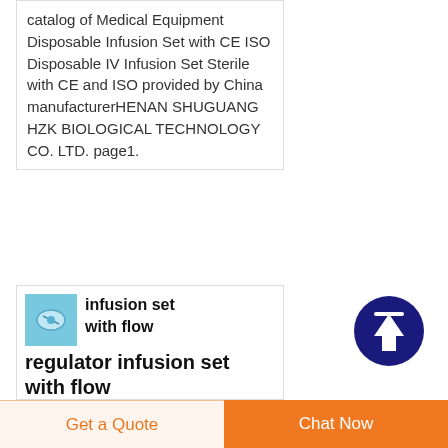catalog of Medical Equipment Disposable Infusion Set with CE ISO Disposable IV Infusion Set Sterile with CE and ISO provided by China manufacturerHENAN SHUGUANG HZK BIOLOGICAL TECHNOLOGY CO. LTD. page1.
[Figure (other): Scroll-to-top button: dark navy blue circle with white upward arrow icon]
[Figure (photo): Small thumbnail image of an infusion set with flow regulator, light blue background]
infusion set with flow regulator infusion set with flow
7 25 2021 infusion set with flow regulator infusion set with
Get a Quote
Chat Now